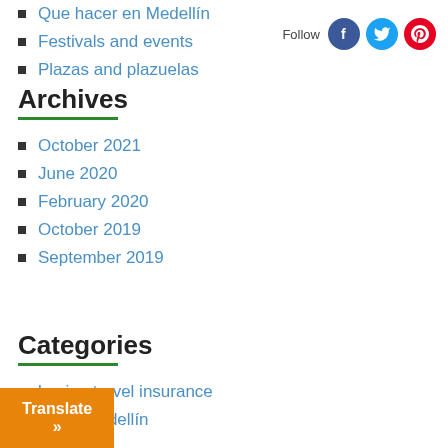Que hacer en Medellín
Festivals and events
Plazas and plazuelas
Archives
October 2021
June 2020
February 2020
October 2019
September 2019
Categories
buying travel insurance
est of Medellín